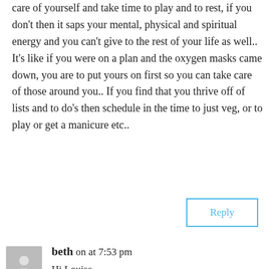care of yourself and take time to play and to rest, if you don't then it saps your mental, physical and spiritual energy and you can't give to the rest of your life as well.. It's like if you were on a plan and the oxygen masks came down, you are to put yours on first so you can take care of those around you.. If you find that you thrive off of lists and to do's then schedule in the time to just veg, or to play or get a manicure etc..
Reply
beth on at 7:53 pm
Hi Louise

Well I'd love to say I'd always choose the 'to the beach' over the 'to work' sign, but I am working on it (maybe 'to work on the beach' is